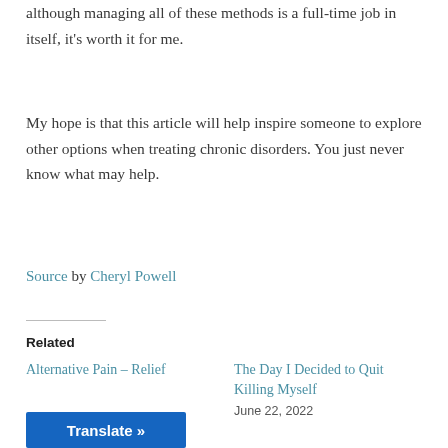although managing all of these methods is a full-time job in itself, it's worth it for me.
My hope is that this article will help inspire someone to explore other options when treating chronic disorders. You just never know what may help.
Source by Cheryl Powell
Related
Alternative Pain – Relief
The Day I Decided to Quit Killing Myself
June 22, 2022